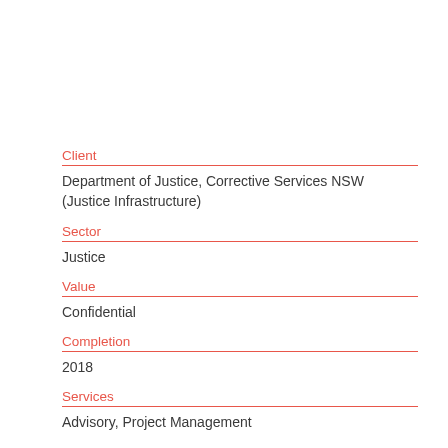Client
Department of Justice, Corrective Services NSW (Justice Infrastructure)
Sector
Justice
Value
Confidential
Completion
2018
Services
Advisory, Project Management